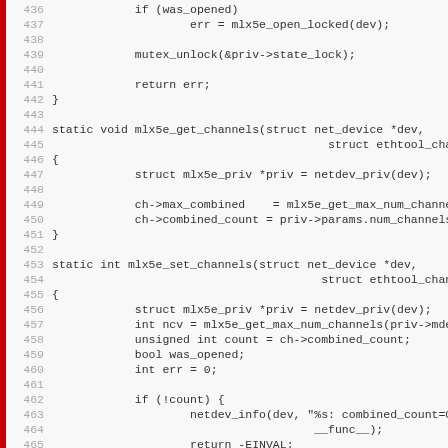[Figure (screenshot): Source code listing in monospace font showing C code for mlx5e network driver functions, lines 436-467, with red vertical bar on left edge and gray background.]